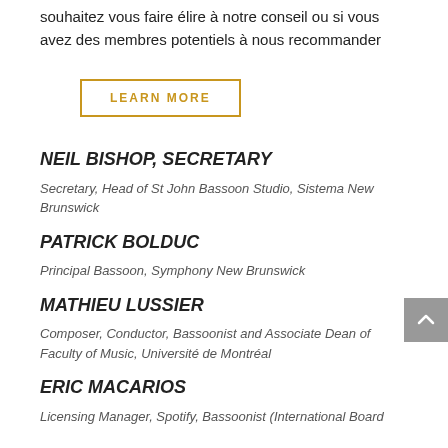souhaitez vous faire élire à notre conseil ou si vous avez des membres potentiels à nous recommander
LEARN MORE
NEIL BISHOP, SECRETARY
Secretary, Head of St John Bassoon Studio, Sistema New Brunswick
PATRICK BOLDUC
Principal Bassoon, Symphony New Brunswick
MATHIEU LUSSIER
Composer, Conductor, Bassoonist and Associate Dean of Faculty of Music, Université de Montréal
ERIC MACARIOS
Licensing Manager, Spotify, Bassoonist (International Board